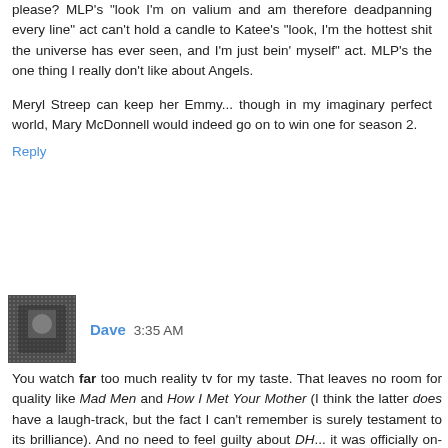please? MLP's "look I'm on valium and am therefore deadpanning every line" act can't hold a candle to Katee's "look, I'm the hottest shit the universe has ever seen, and I'm just bein' myself" act. MLP's the one thing I really don't like about Angels.
Meryl Streep can keep her Emmy... though in my imaginary perfect world, Mary McDonnell would indeed go on to win one for season 2.
Reply
Dave  3:35 AM
You watch far too much reality tv for my taste. That leaves no room for quality like Mad Men and How I Met Your Mother (I think the latter does have a laugh-track, but the fact I can't remember is surely testament to its brilliance). And no need to feel guilty about DH... it was officially on-notice last year, but it's really picked itself up this season.
But major kudos for having Big Love on there. LOVED the first season... and then, unsurprisingly, it vanished from